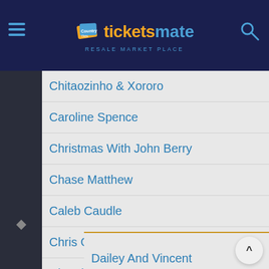ticketsmate RESALE MARKET PLACE
Chitaozinho & Xororo
Caroline Spence
Christmas With John Berry
Chase Matthew
Caleb Caudle
Chris Colston
Church of Cash
Country Late Night After Party
Dailey And Vincent